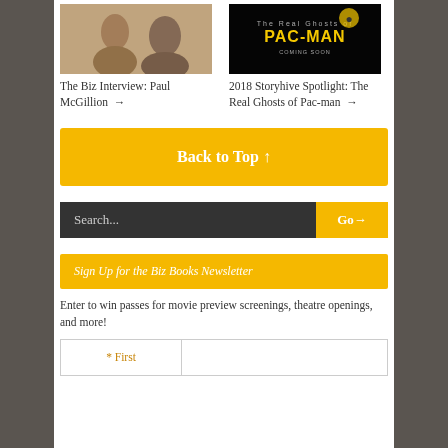[Figure (photo): Photo of a man and woman in conversation – The Biz Interview: Paul McGillion thumbnail]
[Figure (photo): Black movie poster for 'The Real Ghosts of Pac-Man' – 2018 Storyhive Spotlight thumbnail]
The Biz Interview: Paul McGillion →
2018 Storyhive Spotlight: The Real Ghosts of Pac-man →
Back to Top ↑
Search...
Go →
Sign Up for the Biz Books Newsletter
Enter to win passes for movie preview screenings, theatre openings, and more!
* First